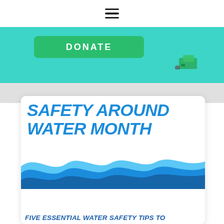≡ (hamburger menu)
[Figure (illustration): Teal/aqua donate banner with green DONATE button and small money/wallet icon]
[Figure (infographic): Safety Around Water Month infographic card with blue wavy design and text reading SAFETY AROUND WATER MONTH]
FIVE ESSENTIAL WATER SAFETY TIPS TO